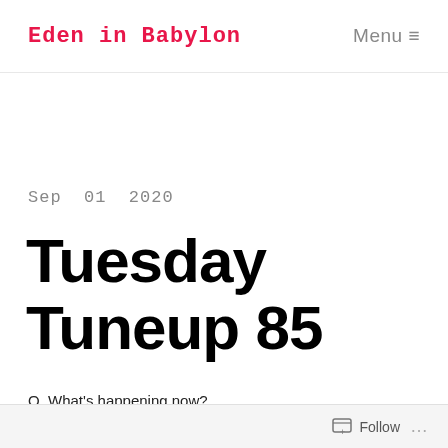Eden in Babylon
Menu ≡
Sep 01 2020
Tuesday Tuneup 85
Q. What's happening now?
Follow ...